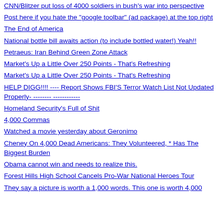CNN/Blitzer put loss of 4000 soldiers in bush's war into perspective
Post here if you hate the "google toolbar" (ad package) at the top right
The End of America
National bottle bill awaits action (to include bottled water!) Yeah!!
Petraeus: Iran Behind Green Zone Attack
Market's Up a Little Over 250 Points - That's Refreshing
Market's Up a Little Over 250 Points - That's Refreshing
HELP DIGG!!!! ---- Report Shows FBI'S Terror Watch List Not Updated Properly- -------- ------------
Homeland Security's Full of Shit
4,000 Commas
Watched a movie yesterday about Geronimo
Cheney On 4,000 Dead Americans: They Volunteered, * Has The Biggest Burden
Obama cannot win and needs to realize this.
Forest Hills High School Cancels Pro-War National Heroes Tour
They say a picture is worth a 1,000 words. This one is worth 4,000